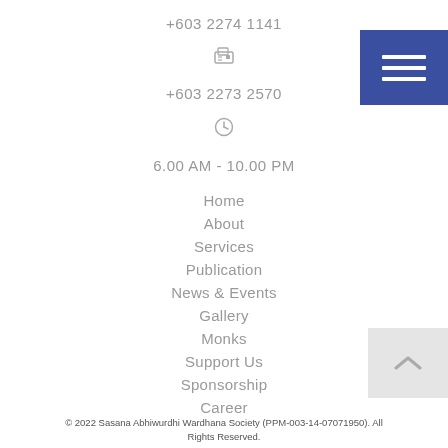+603 2274 1141
+603 2273 2570
6.00 AM - 10.00 PM
Home
About
Services
Publication
News & Events
Gallery
Monks
Support Us
Sponsorship
Career
© 2022 Sasana Abhiwurdhi Wardhana Society (PPM-003-14-07071950). All Rights Reserved.